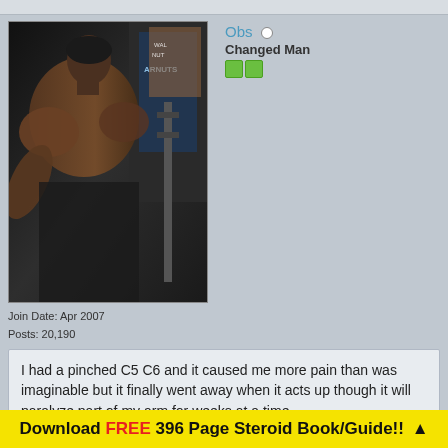[Figure (photo): Muscular shirtless person photographed from the side in a gym setting, dark/dim lighting]
Join Date: Apr 2007
Posts: 20,190
Obs
Changed Man
I had a pinched C5 C6 and it caused me more pain than was imaginable but it finally went away when it acts up though it will paralyze part of my arm for weeks at a time
lovbyts likes this.
Reply With Quote
Download FREE 396 Page Steroid Book/Guide!! ▲